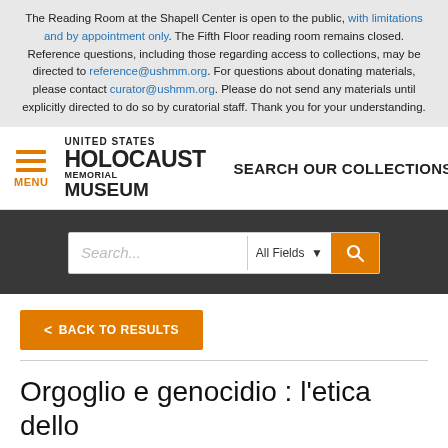The Reading Room at the Shapell Center is open to the public, with limitations and by appointment only. The Fifth Floor reading room remains closed. Reference questions, including those regarding access to collections, may be directed to reference@ushmm.org. For questions about donating materials, please contact curator@ushmm.org. Please do not send any materials until explicitly directed to do so by curatorial staff. Thank you for your understanding.
[Figure (logo): United States Holocaust Memorial Museum logo with hamburger menu icon and orange MENU label, plus SEARCH OUR COLLECTIONS text]
[Figure (screenshot): Search bar with placeholder text 'Search...', All Fields dropdown, and orange search button]
< BACK TO RESULTS
Orgoglio e genocidio : l'etica dello